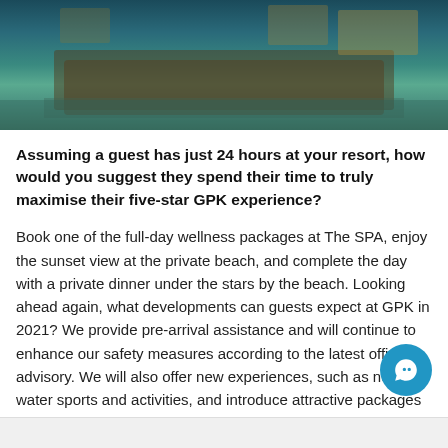[Figure (photo): Aerial view of an overwater resort or floating platform structure with tables/seating, surrounded by turquoise water, illuminated with warm lights.]
Assuming a guest has just 24 hours at your resort, how would you suggest they spend their time to truly maximise their five-star GPK experience?
Book one of the full-day wellness packages at The SPA, enjoy the sunset view at the private beach, and complete the day with a private dinner under the stars by the beach. Looking ahead again, what developments can guests expect at GPK in 2021? We provide pre-arrival assistance and will continue to enhance our safety measures according to the latest official advisory. We will also offer new experiences, such as new water sports and activities, and introduce attractive packages for our guests throughout the year.